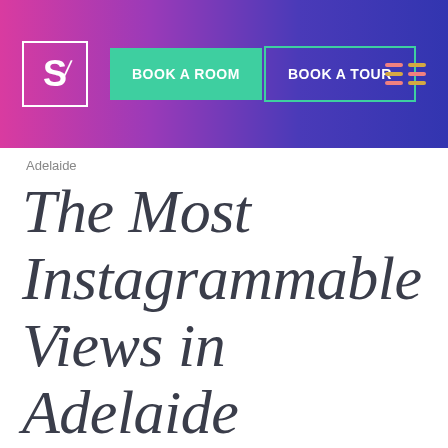[Figure (screenshot): Website navigation header with gradient background (pink to purple/blue). Contains a logo box with 'S' letter, a green 'BOOK A ROOM' button, an outlined 'BOOK A TOUR' button, and a hamburger menu icon on the right.]
Adelaide
The Most Instagrammable Views in Adelaide